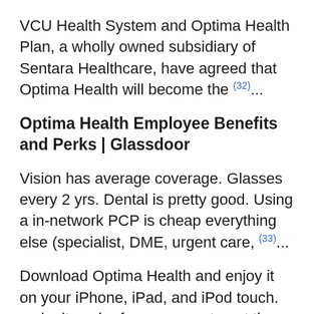VCU Health System and Optima Health Plan, a wholly owned subsidiary of Sentara Healthcare, have agreed that Optima Health will become the (32)...
Optima Health Employee Benefits and Perks | Glassdoor
Vision has average coverage. Glasses every 2 yrs. Dental is pretty good. Using a in-network PCP is cheap everything else (specialist, DME, urgent care, (33)...
Download Optima Health and enjoy it on your iPhone, iPad, and iPod touch. make it easier for everyone to get the...